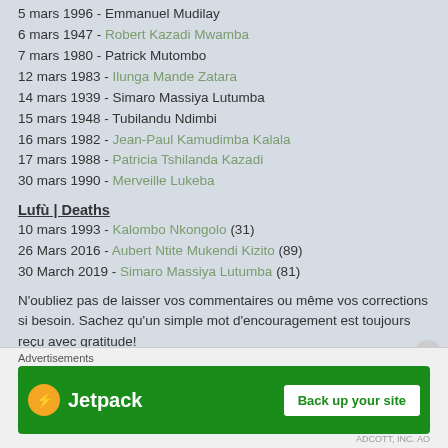5 mars 1996 - Emmanuel Mudilay
6 mars 1947 - Robert Kazadi Mwamba
7 mars 1980 - Patrick Mutombo
12 mars 1983 - Ilunga Mande Zatara
14 mars 1939 - Simaro Massiya Lutumba
15 mars 1948 - Tubilandu Ndimbi
16 mars 1982 - Jean-Paul Kamudimba Kalala
17 mars 1988 - Patricia Tshilanda Kazadi
30 mars 1990 - Merveille Lukeba
Lufù | Deaths
10 mars 1993 - Kalombo Nkongolo (31)
26 Mars 2016 - Aubert Ntite Mukendi Kizito (89)
30 March 2019 - Simaro Massiya Lutumba (81)
N'oubliez pas de laisser vos commentaires ou même vos corrections si besoin. Sachez qu'un simple mot d'encouragement est toujours reçu avec gratitude!
Shààlayi bimpà! ;)
Follow Luba Nation
[Figure (other): Red circle icon (social media follow button)]
Advertisements — Jetpack Back up your site